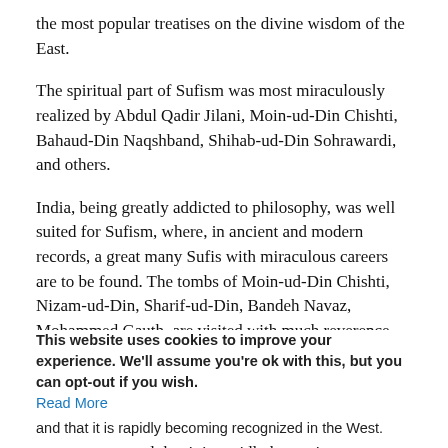the most popular treatises on the divine wisdom of the East.
The spiritual part of Sufism was most miraculously realized by Abdul Qadir Jilani, Moin-ud-Din Chishti, Bahaud-Din Naqshband, Shihab-ud-Din Sohrawardi, and others.
India, being greatly addicted to philosophy, was well suited for Sufism, where, in ancient and modern records, a great many Sufis with miraculous careers are to be found. The tombs of Moin-ud-Din Chishti, Nizam-ud-Din, Sharif-ud-Din, Bandeh Navaz, Mohammed Gauth, are visited with much reverence and devotion by people of various nations and many beliefs, in thankful remembrance of their great careers.
Sufism, as a religious philosophy of love, harmony, and beauty, aims at expanding the soul of man until the realization of the beauty of all creation enables him to become as perfect an expression of divine harmony as possible. It is therefore natural that the Sufi Order should stand foremost as a spiritual power in and that it is rapidly becoming recognized in the West.
This website uses cookies to improve your experience. We'll assume you're ok with this, but you can opt-out if you wish. Read More
Accept
Many Sufi saints have attained what is known as